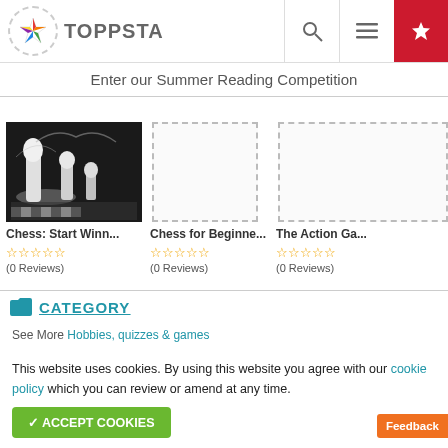[Figure (screenshot): Toppsta website header with logo (colorful star), TOPPSTA text, search icon, hamburger menu icon, and red star/favorites button]
Enter our Summer Reading Competition
[Figure (photo): Chess pieces photo showing white chess pieces with water splash effect on a chessboard]
Chess: Start Winn...
☆☆☆☆☆
(0 Reviews)
[Figure (illustration): Placeholder dashed border box for Chess for Beginne... book cover]
Chess for Beginne...
☆☆☆☆☆
(0 Reviews)
[Figure (illustration): Placeholder dashed border box for The Action Ga... book cover]
The Action Ga...
☆☆☆☆☆
(0 Reviews)
CATEGORY
See More Hobbies, quizzes & games
This website uses cookies. By using this website you agree with our cookie policy which you can review or amend at any time.
ACCEPT COOKIES
Feedback